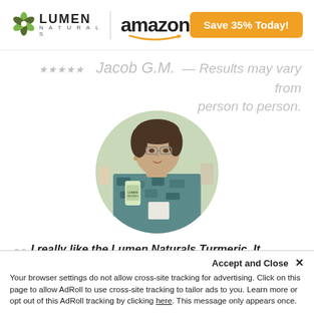[Figure (logo): Lumen Naturals logo with leaf icon and Amazon logo with smile, and orange 'Save 35% Today!' button]
Jacob G.M. — Results may vary from person to person.
[Figure (photo): Circular cropped photo of a middle-aged woman with glasses holding a Lumen Naturals Turmeric product bottle]
"I really like the Lumen Naturals Turmeric. It
Accept and Close ✕
Your browser settings do not allow cross-site tracking for advertising. Click on this page to allow AdRoll to use cross-site tracking to tailor ads to you. Learn more or opt out of this AdRoll tracking by clicking here. This message only appears once.